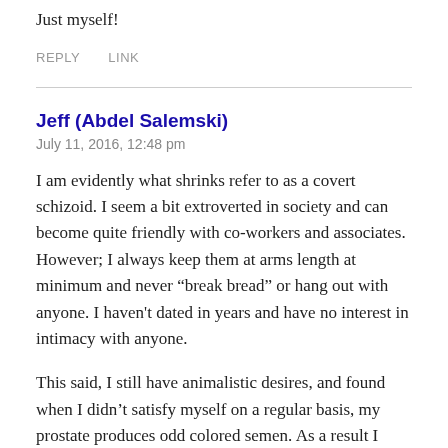Just myself!
REPLY   LINK
Jeff (Abdel Salemski)
July 11, 2016, 12:48 pm
I am evidently what shrinks refer to as a covert schizoid. I seem a bit extroverted in society and can become quite friendly with co-workers and associates. However; I always keep them at arms length at minimum and never “break bread” or hang out with anyone. I haven't dated in years and have no interest in intimacy with anyone.
This said, I still have animalistic desires, and found when I didn’t satisfy myself on a regular basis, my prostate produces odd colored semen. As a result I satisfy myself